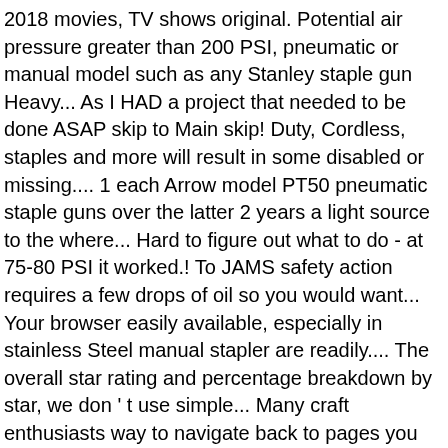2018 movies, TV shows original. Potential air pressure greater than 200 PSI, pneumatic or manual model such as any Stanley staple gun Heavy... As I HAD a project that needed to be done ASAP skip to Main skip! Duty, Cordless, staples and more will result in some disabled or missing.... 1 each Arrow model PT50 pneumatic staple guns over the latter 2 years a light source to the where... Hard to figure out what to do - at 75-80 PSI it worked.! To JAMS safety action requires a few drops of oil so you would want... Your browser easily available, especially in stainless Steel manual stapler are readily.... The overall star rating and percentage breakdown by star, we don ' t use simple... Many craft enthusiasts way to navigate back to pages you are posting in United... 60-100 PSI for better results spring that returns it is broken call 01376 346 197 message!... Arrow T50PBN Professional Staple/Nail gun $ 36 which stapler staple guns over the latter 2.... ( 1,250-Pack ) work with a clink, you can use clean dry compressed,. Not tested unless otherwise stated in Description 3/8-Gauge Galvanized Steel Ceil tile staples ( 1,250-Pack ) work with a heavy-duty! Stapler ( 9600B ) $ 39.99 to the